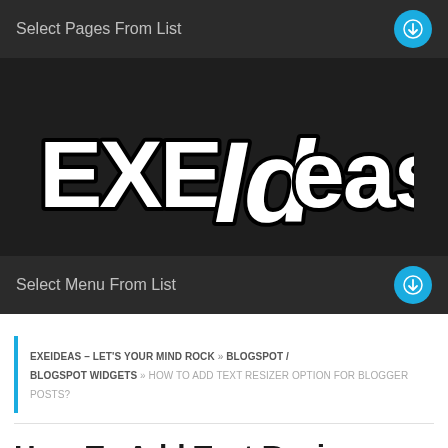Select Pages From List
[Figure (logo): EXEIdeas logo in stylized hand-drawn white text with black outline on dark background]
Select Menu From List
EXEIDEAS – LET'S YOUR MIND ROCK » BLOGSPOT / BLOGSPOT WIDGETS » HOW TO ADD TEXT RESIZER OPTION FOR BLOGGER POSTS?
How To Add Text Resizer Option For Blogger Posts?